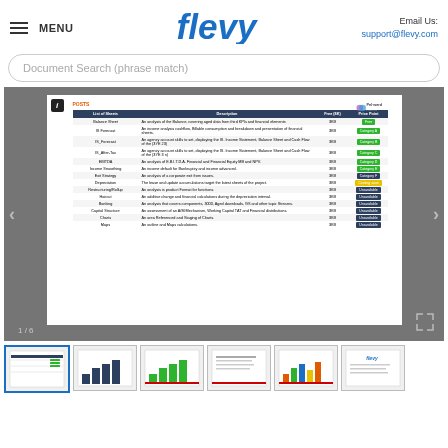MENU | flevy | Email Us: support@flevy.com
Document Search (phrase match)
[Figure (screenshot): Document viewer showing a Flevy document page with a table listing financial analysis items including Balance Sheet, IS_Forecast, IS_After-Tax, EBITDA, Income Smoothing, Exit Strategy, Depreciation, Restructuring/Rollup, Haircut, Banking, Capital Structure, Charts, Maps. Each row shows description, Free (3K), and a status button (green, dark, or yellow). A previous/next navigation arrow and page counter 1/6 are visible. A Pellweed logo appears top right of the document.]
[Figure (screenshot): Thumbnail 1 (active): table document page similar to main viewer]
[Figure (screenshot): Thumbnail 2: document with dark bar chart]
[Figure (screenshot): Thumbnail 3: document with green bar chart]
[Figure (screenshot): Thumbnail 4: document with text content]
[Figure (screenshot): Thumbnail 5: document with colored bar chart]
[Figure (screenshot): Thumbnail 6: flevy branded document page]